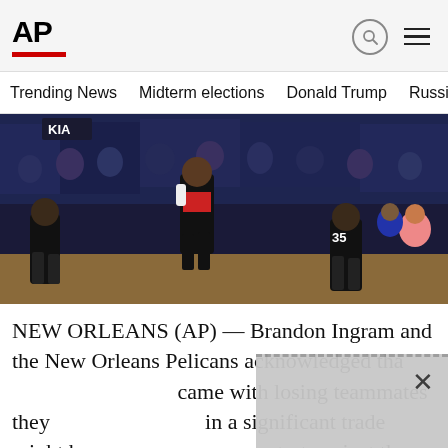AP
Trending News   Midterm elections   Donald Trump   Russia-Ukr
[Figure (photo): Basketball game action shot showing Houston Rockets players in dark uniforms on court with crowd in background, Kia advertising board visible]
NEW ORLEANS (AP) — Brandon Ingram and the New Orleans Pelicans acknowledged tha came with losing teammates they in a significant trade might have co start against the reeling Houston R
I eventually found his rhyth on a variety of drives, pull-up jump